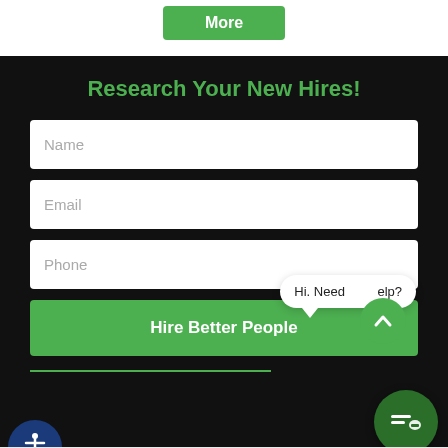[Figure (screenshot): Green 'More' button at top of page on white background]
Research Your New Hires!
[Figure (screenshot): Web form with Name, Email, Phone fields and 'Hire Better People' green submit button on dark background, with chat widget and search bar overlay]